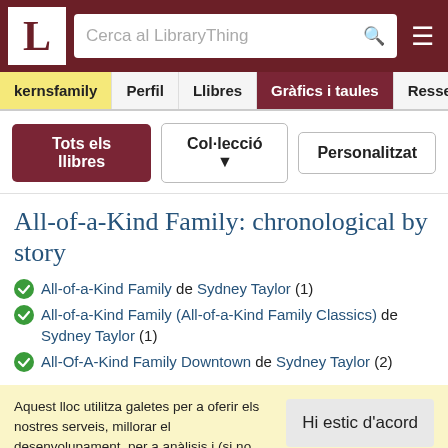[Figure (screenshot): LibraryThing website header with logo L, search bar 'Cerca al LibraryThing', and hamburger menu icon]
kernsfamily | Perfil | Llibres | Gràfics i taules | Ressenyes
Tots els llibres | Col·lecció ▼ | Personalitzat
All-of-a-Kind Family: chronological by story
All-of-a-Kind Family de Sydney Taylor (1)
All-of-a-Kind Family (All-of-a-Kind Family Classics) de Sydney Taylor (1)
All-Of-A-Kind Family Downtown de Sydney Taylor (2)
Aquest lloc utilitza galetes per a oferir els nostres serveis, millorar el desenvolupament, per a anàlisis i (si no has iniciat la sessió) per a publicitat. Utilitzant LibraryThing acceptes que has llegit i entès els nostres Termes de servei i política de privacitat. L'ús que facis del lloc i dels seus serveis està subjecte a aquestes polítiques i termes.
Hi estic d'acord